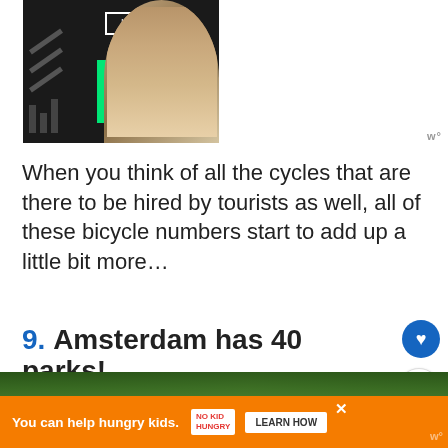[Figure (screenshot): Advertisement banner showing a man and child with a robotic toy, green bracket-E logo, and 'Learn How' button on dark background]
When you think of all the cycles that are there to be hired by tourists as well, all of these bicycle numbers start to add up a little bit more…
9. Amsterdam has 40 parks!
[Figure (photo): Green park with trees and iron fence in Amsterdam]
[Figure (screenshot): Advertisement banner: 'You can help hungry kids.' with No Kid Hungry logo and Learn How button on orange background]